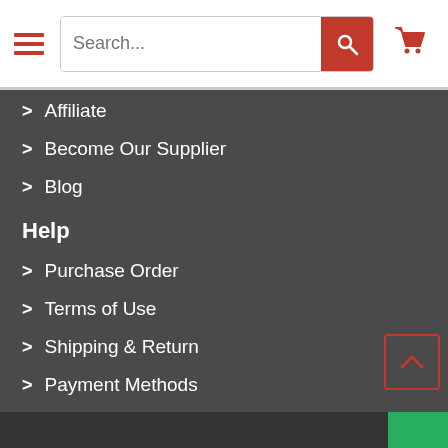[Figure (screenshot): Website navigation header with hamburger menu, search bar, and shopping cart icon]
Affiliate
Become Our Supplier
Blog
Help
Purchase Order
Terms of Use
Shipping & Return
Payment Methods
Contact Us
Keep In Touch
Newsletter Sign-up Get Email, Savings and Updates: